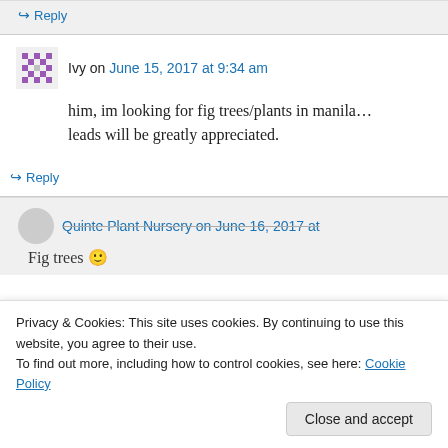↪ Reply
Ivy on June 15, 2017 at 9:34 am
him, im looking for fig trees/plants in manila… leads will be greatly appreciated.
↪ Reply
Quinte Plant Nursery on June 16, 2017 at
Fig trees 🙂
Privacy & Cookies: This site uses cookies. By continuing to use this website, you agree to their use.
To find out more, including how to control cookies, see here: Cookie Policy
Close and accept